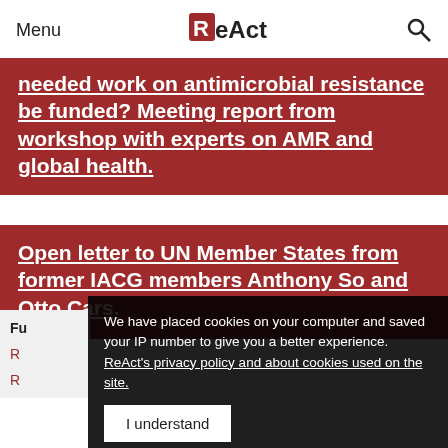Menu | ReAct | Search
needed work on antimicrobial resistance be funded? Meeting report from workshop with experts on AMR and global health.
Open letter to UN Member States from former IACG members Anthony So and Otto Cars.
We have placed cookies on your computer and saved your IP number to give you a better experience. ReAct's privacy and about cookies used on the site.
I understand